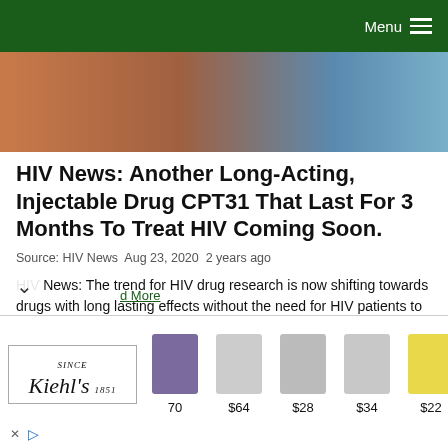Menu
[Figure (photo): Partial hero image showing warm brown and blue tones, likely a medical or lifestyle photograph]
HIV News: Another Long-Acting, Injectable Drug CPT31 That Last For 3 Months To Treat HIV Coming Soon.
Source: HIV News  Aug 23, 2020  2 years ago
HIV News: The trend for HIV drug research is now shifting towards drugs with long lasting effects without the need for HIV patients to adhere to stringent daily regimens and doses which can be quiet stressful at times.   Scientists from the University of Utah Health in collaboration with researchers from the National Institute of Allergy and Infectious Diseases (NIAID), Beth Israel Deacones…
[Figure (advertisement): Kiehl's advertisement banner showing logo and product images with prices: $70, $64, $28, $34, $22, $2x]